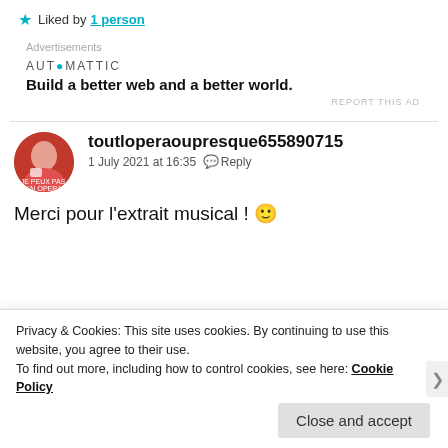★ Liked by 1 person
Advertisements
[Figure (logo): Automattic logo and tagline: Build a better web and a better world.]
REPORT THIS AD
toutloperaoupresque655890715
1 July 2021 at 16:35  Reply
Merci pour l'extrait musical ! 🙂
Privacy & Cookies: This site uses cookies. By continuing to use this website, you agree to their use.
To find out more, including how to control cookies, see here: Cookie Policy
Close and accept